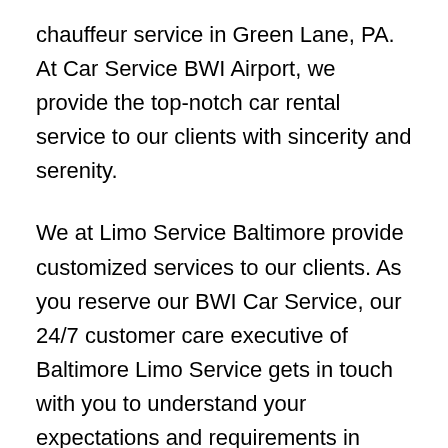chauffeur service in Green Lane, PA. At Car Service BWI Airport, we provide the top-notch car rental service to our clients with sincerity and serenity.
We at Limo Service Baltimore provide customized services to our clients. As you reserve our BWI Car Service, our 24/7 customer care executive of Baltimore Limo Service gets in touch with you to understand your expectations and requirements in detail.
We at Car Service BWI Airport then create a travel plan as per your needs and demands within the budget that suits your pocket. Limo Service Baltimore follows the approach of being a customer-centric service provider and thus keeps